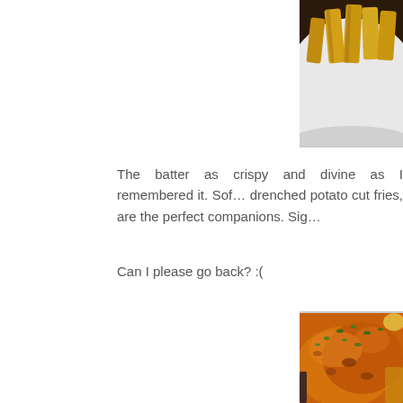[Figure (photo): Close-up photo of fish and chips on a white plate, showing golden battered fish with thick potato cut fries, partially cropped at top of page]
The batter as crispy and divine as I remembered it. Sof… drenched potato cut fries, are the perfect companions. Sig…
Can I please go back? :(
[Figure (photo): Close-up macro photo of golden-brown crispy battered fish garnished with chopped green herbs (parsley), with chips and a lemon slice visible in the background]